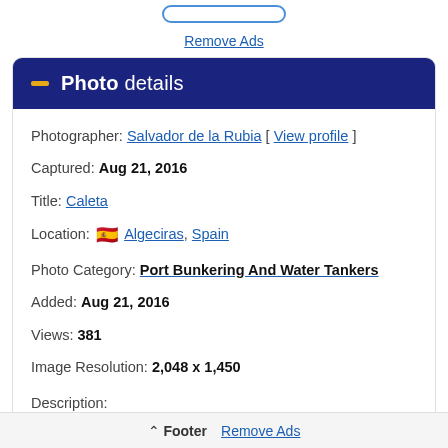Remove Ads
— Photo details
Photographer: Salvador de la Rubia [ View profile ]
Captured: Aug 21, 2016
Title: Caleta
Location: 🇪🇸 Algeciras, Spain
Photo Category: Port Bunkering And Water Tankers
Added: Aug 21, 2016
Views: 381
Image Resolution: 2,048 x 1,450
Description:
Footer   Remove Ads